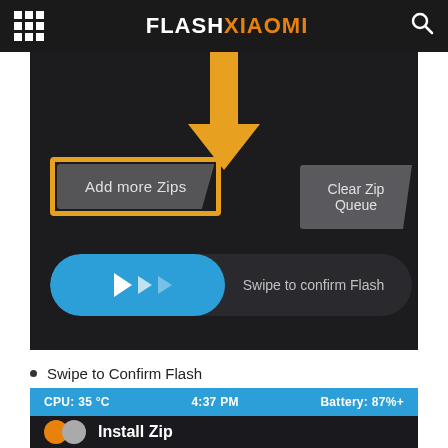FLASHXIAOMI
[Figure (screenshot): Android recovery screen showing 'Add more Zips' button highlighted with orange border and arrow, 'Clear Zip Queue' button, and 'Swipe to confirm Flash' slider bar]
Swipe to Confirm Flash
[Figure (screenshot): Bottom strip showing CPU: 35°C, 4:37 PM, Battery: 87%+ and Install Zip menu item on blue/dark background]